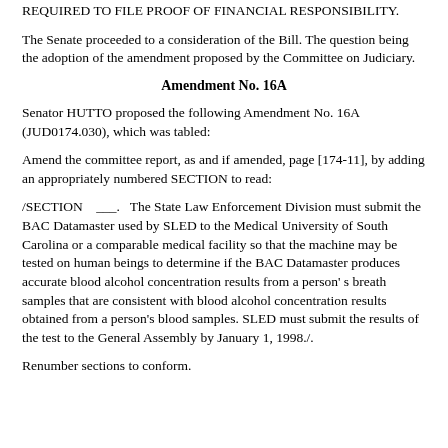REQUIRED TO FILE PROOF OF FINANCIAL RESPONSIBILITY.
The Senate proceeded to a consideration of the Bill. The question being the adoption of the amendment proposed by the Committee on Judiciary.
Amendment No. 16A
Senator HUTTO proposed the following Amendment No. 16A (JUD0174.030), which was tabled:
Amend the committee report, as and if amended, page [174-11], by adding an appropriately numbered SECTION to read:
/SECTION ___. The State Law Enforcement Division must submit the BAC Datamaster used by SLED to the Medical University of South Carolina or a comparable medical facility so that the machine may be tested on human beings to determine if the BAC Datamaster produces accurate blood alcohol concentration results from a person' s breath samples that are consistent with blood alcohol concentration results obtained from a person's blood samples. SLED must submit the results of the test to the General Assembly by January 1, 1998./.
Renumber sections to conform.